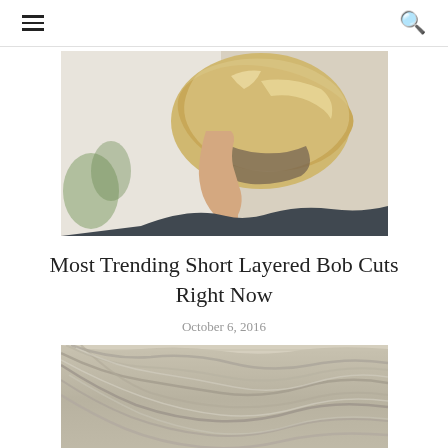☰ 🔍
[Figure (photo): Side profile of a woman with a short layered bob haircut, blonde highlights, wearing a dark jacket, against a light background with a plant visible]
Most Trending Short Layered Bob Cuts Right Now
October 6, 2016
[Figure (photo): Close-up top/back view of layered bob haircut with ash blonde and silver highlights, showing layers and texture]